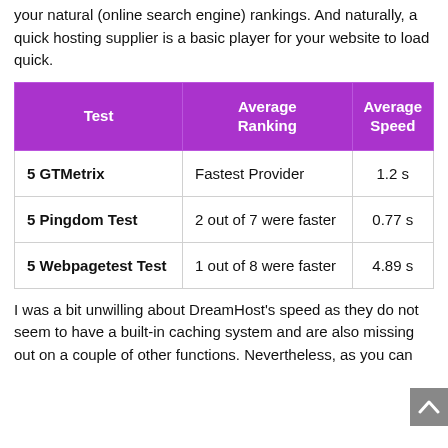your natural (online search engine) rankings. And naturally, a quick hosting supplier is a basic player for your website to load quick.
| Test | Average Ranking | Average Speed |
| --- | --- | --- |
| 5 GTMetrix | Fastest Provider | 1.2 s |
| 5 Pingdom Test | 2 out of 7 were faster | 0.77 s |
| 5 Webpagetest Test | 1 out of 8 were faster | 4.89 s |
I was a bit unwilling about DreamHost's speed as they do not seem to have a built-in caching system and are also missing out on a couple of other functions. Nevertheless, as you can